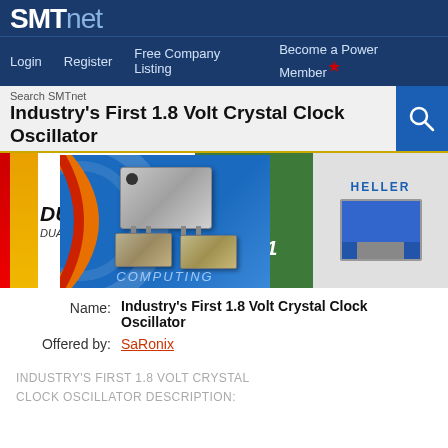[Figure (logo): SMTnet logo — bold white 'SMT' and lighter 'net' on dark blue background]
Login   Register   Free Company Listing   Become a Power Member
Industry's First 1.8 Volt Crystal Clock Oscillator
[Figure (photo): Product photo of crystal clock oscillator components on a blue computing background, overlaid on a dual-lane oven banner advertisement]
Name: Industry's First 1.8 Volt Crystal Clock Oscillator
Offered by: SaRonix
INDUSTRY'S FIRST 1.8 VOLT CRYSTAL CLOCK OSCILLATOR DESCRIPTION: